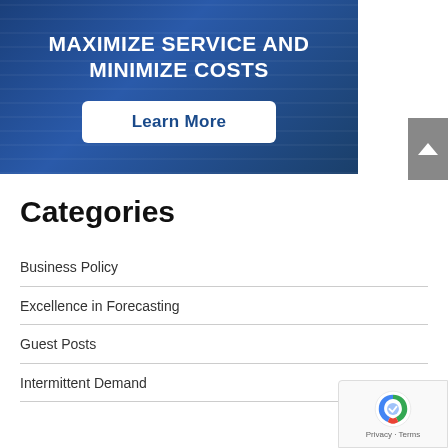[Figure (other): Blue banner with industrial/warehouse background image showing shelves. White bold uppercase text reads 'MAXIMIZE SERVICE AND MINIMIZE COSTS' with a white rounded rectangle button labeled 'Learn More' in dark blue.]
Categories
Business Policy
Excellence in Forecasting
Guest Posts
Intermittent Demand